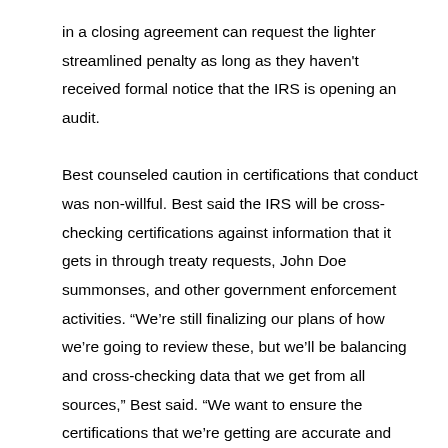in a closing agreement can request the lighter streamlined penalty as long as they haven't received formal notice that the IRS is opening an audit.

Best counseled caution in certifications that conduct was non-willful. Best said the IRS will be cross-checking certifications against information that it gets in through treaty requests, John Doe summonses, and other government enforcement activities. “We’re still finalizing our plans of how we’re going to review these, but we’ll be balancing and cross-checking data that we get from all sources,” Best said. “We want to ensure the certifications that we’re getting are accurate and complete.”